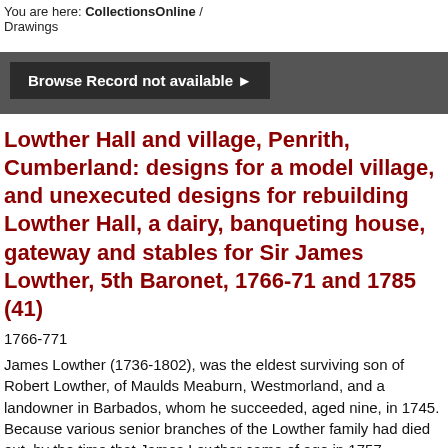You are here: CollectionsOnline / Drawings
[Figure (screenshot): Browse Record not available button with arrow, dark grey background]
Lowther Hall and village, Penrith, Cumberland: designs for a model village, and unexecuted designs for rebuilding Lowther Hall, a dairy, banqueting house, gateway and stables for Sir James Lowther, 5th Baronet, 1766-71 and 1785 (41)
1766-771
James Lowther (1736-1802), was the eldest surviving son of Robert Lowther, of Maulds Meaburn, Westmorland, and a landowner in Barbados, whom he succeeded, aged nine, in 1745. Because various senior branches of the Lowther family had died out, by the time that James Lowther came of age in 1757